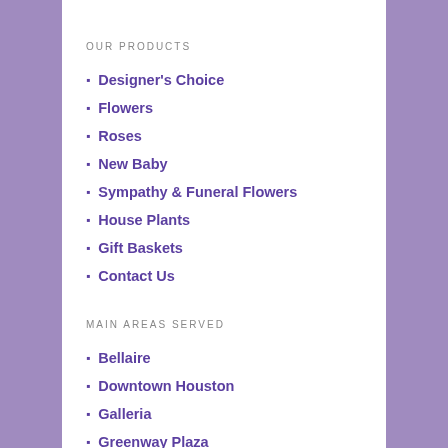OUR PRODUCTS
Designer's Choice
Flowers
Roses
New Baby
Sympathy & Funeral Flowers
House Plants
Gift Baskets
Contact Us
MAIN AREAS SERVED
Bellaire
Downtown Houston
Galleria
Greenway Plaza
Highland Village
Houston Heights
Houston Medical Center
Katy
Memorial